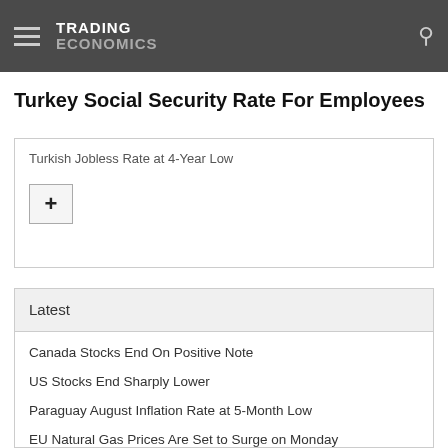TRADING ECONOMICS
Turkey Social Security Rate For Employees
Turkish Jobless Rate at 4-Year Low
Latest
Canada Stocks End On Positive Note
US Stocks End Sharply Lower
Paraguay August Inflation Rate at 5-Month Low
EU Natural Gas Prices Are Set to Surge on Monday
Colombia Exports Hit Record High in July
South African Stocks End on Strong Note
MOEX Surges 9% on the Week
Spanish Stocks Rebound From 12-Day Losing Streak